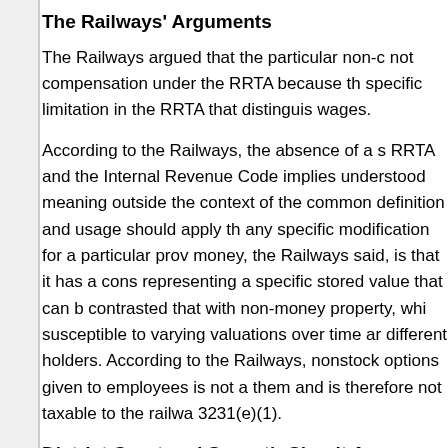The Railways' Arguments
The Railways argued that the particular non-c not compensation under the RRTA because th specific limitation in the RRTA that distinguis wages.
According to the Railways, the absence of a s RRTA and the Internal Revenue Code implies understood meaning outside the context of the common definition and usage should apply th any specific modification for a particular prov money, the Railways said, is that it has a cons representing a specific stored value that can b contrasted that with non-money property, whi susceptible to varying valuations over time ar different holders. According to the Railways, nonstock options given to employees is not a them and is therefore not taxable to the railwa 3231(e)(1).
District Court and Seventh Circuit Agre